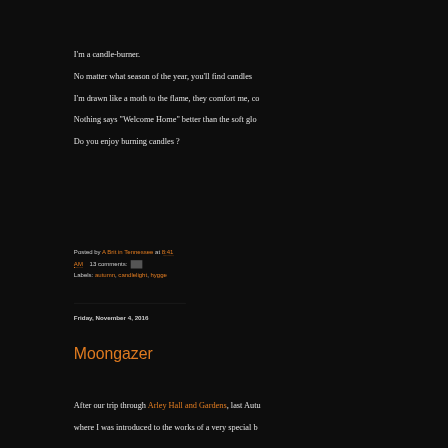I'm a candle-burner.
No matter what season of the year, you'll find candles
I'm drawn like a moth to the flame, they comfort me, co
Nothing says "Welcome Home" better than the soft glo
Do you enjoy burning candles ?
Posted by A Brit in Tennessee at 8:41 AM    13 comments:
Labels: autumn, candlelight, hygge
Friday, November 4, 2016
Moongazer
After our trip through Arley Hall and Gardens, last Autu
where I was introduced to the works of a very special b